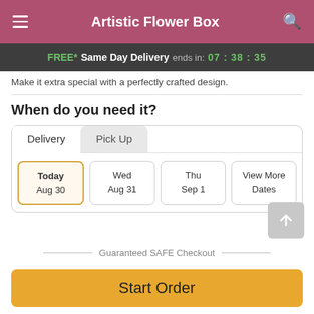Artistic Flower Box
FREE* Same Day Delivery ends in: 07 : 38 : 35
Make it extra special with a perfectly crafted design.
When do you need it?
Delivery | Pick Up
Today Aug 30 | Wed Aug 31 | Thu Sep 1 | View More Dates
Guaranteed SAFE Checkout
Start Order